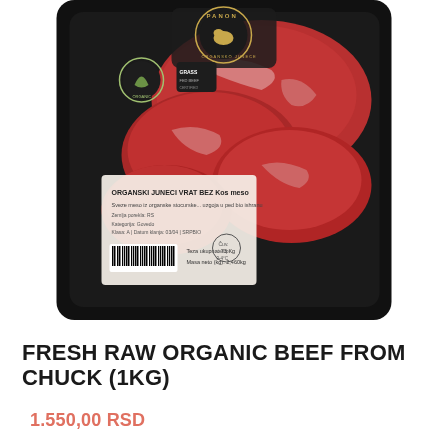[Figure (photo): Product photo of a black plastic tray of fresh raw organic beef chuck cuts, branded 'PANON' with organic certification logos and a barcode label on the packaging.]
FRESH RAW ORGANIC BEEF FROM CHUCK (1KG)
1.550,00 RSD